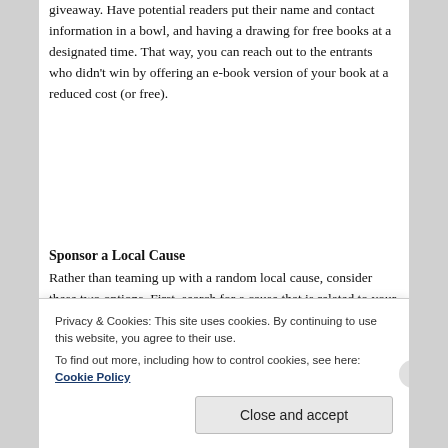giveaway. Have potential readers put their name and contact information in a bowl, and having a drawing for free books at a designated time. That way, you can reach out to the entrants who didn't win by offering an e-book version of your book at a reduced cost (or free).
Sponsor a Local Cause
Rather than teaming up with a random local cause, consider these two options. First, search for a cause that is related to your book. For example, I write YA fantasy, so I look to local organizations that support education...
Privacy & Cookies: This site uses cookies. By continuing to use this website, you agree to their use.
To find out more, including how to control cookies, see here: Cookie Policy